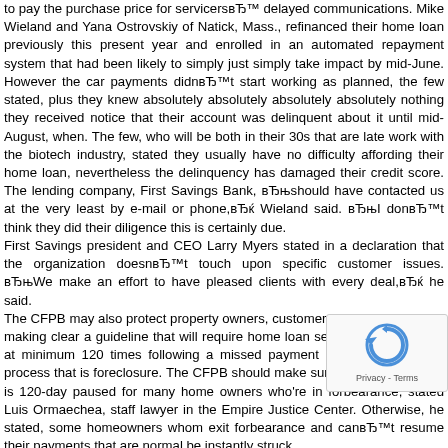to pay the purchase price for servicersвЂ™ delayed communications. Mike Wieland and Yana Ostrovskiy of Natick, Mass., refinanced their home loan previously this present year and enrolled in an automated repayment system that had been likely to simply just simply take impact by mid-June. However the car payments didnвЂ™t start working as planned, the few stated, plus they knew absolutely absolutely absolutely absolutely nothing they received notice that their account was delinquent about it until mid-August, when. The few, who will be both in their 30s that are late work with the biotech industry, stated they usually have no difficulty affording their home loan, nevertheless the delinquency has damaged their credit score. The lending company, First Savings Bank, вЂњshould have contacted us at the very least by e-mail or phone,вЂќ Wieland said. вЂњI donвЂ™t think they did their diligence this is certainly due.
First Savings president and CEO Larry Myers stated in a declaration that the organization doesnвЂ™t touch upon specific customer issues. вЂњWe make an effort to have pleased clients with every deal,вЂќ he said.
The CFPB may also protect property owners, customer advocates state, by making clear a guideline that will require home loan servicers to hold back at minimum 120 times following a missed payment prior to starting the process that is foreclosure. The CFPB should make sure that the clock that is 120-day paused for many home owners who're in forbearance, stated Luis Ormaechea, staff lawyer in the Empire Justice Center. Otherwise, he stated, some homeowners whom exit forbearance and canвЂ™t resume their payments that are normal be instantly struck
[Figure (other): reCAPTCHA widget overlay showing a circular arrow icon and Privacy - Terms text]